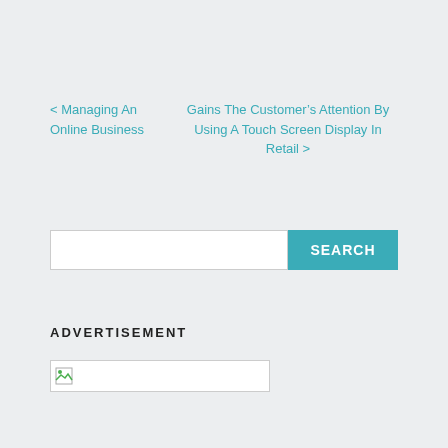< Managing An Online Business
Gains The Customer’s Attention By Using A Touch Screen Display In Retail >
[Figure (screenshot): Search bar with text input field and teal SEARCH button]
ADVERTISEMENT
[Figure (photo): Broken/loading image placeholder in a white bordered box]